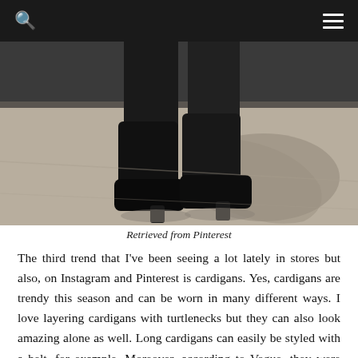[Figure (photo): Close-up photograph of a person's legs from the knees down, wearing all-black outfit with black boots, standing on a concrete sidewalk with shadow visible]
Retrieved from Pinterest
The third trend that I've been seeing a lot lately in stores but also, on Instagram and Pinterest is cardigans. Yes, cardigans are trendy this season and can be worn in many different ways. I love layering cardigans with turtlenecks but they can also look amazing alone as well. Long cardigans can easily be styled with a belt, for example. Moreover, according to Vogue, they were actually spotted in many different runaways looks with Dolce & Gabbana, Chloé, Fendi, and